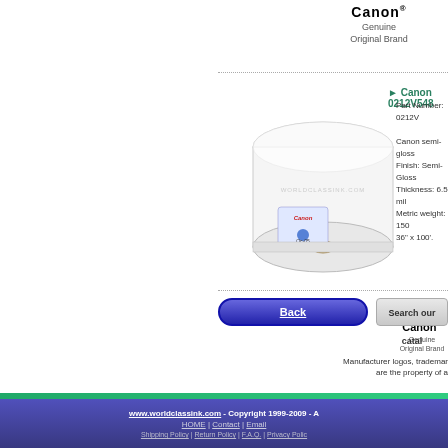[Figure (logo): Canon brand name with registered trademark, Genuine Original Brand text]
[Figure (photo): Canon semi-gloss paper roll product photo with WORLDCLASSINK.COM watermark]
Canon 0212V548
Part Number: 0212V
Canon semi-gloss
Finish: Semi-Gloss
Thickness: 6.5 mil
Metric weight: 150
36" x 100'.
[Figure (logo): Canon registered trademark logo, Genuine Original Brand text]
Back
Search our catal
Manufacturer logos, trademar
are the property of a
www.worldclassink.com - Copyright 1999-2009 - A
HOME | Contact | Email
Shipping Policy | Return Policy | F.A.Q. | Privacy Polic